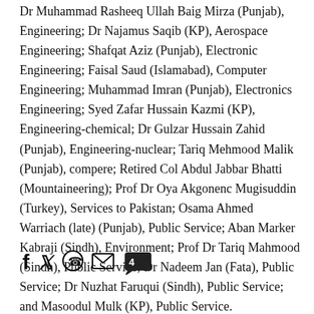Dr Muhammad Rasheeq Ullah Baig Mirza (Punjab), Engineering; Dr Najamus Saqib (KP), Aerospace Engineering; Shafqat Aziz (Punjab), Electronic Engineering; Faisal Saud (Islamabad), Computer Engineering; Muhammad Imran (Punjab), Electronics Engineering; Syed Zafar Hussain Kazmi (KP), Engineering-chemical; Dr Gulzar Hussain Zahid (Punjab), Engineering-nuclear; Tariq Mehmood Malik (Punjab), compere; Retired Col Abdul Jabbar Bhatti (Mountaineering); Prof Dr Oya Akgonenc Mugisuddin (Turkey), Services to Pakistan; Osama Ahmed Warriach (late) (Punjab), Public Service; Aban Marker Kabraji (Sindh), Environment; Prof Dr Tariq Mahmood (Sindh), Public Service; Dr Nadeem Jan (Fata), Public Service; Dr Nuzhat Faruqui (Sindh), Public Service; and Masoodul Mulk (KP), Public Service.
[Figure (other): Social sharing icons: Facebook (f), Twitter (bird), WhatsApp, Email (envelope), Comment bubble with number 4]